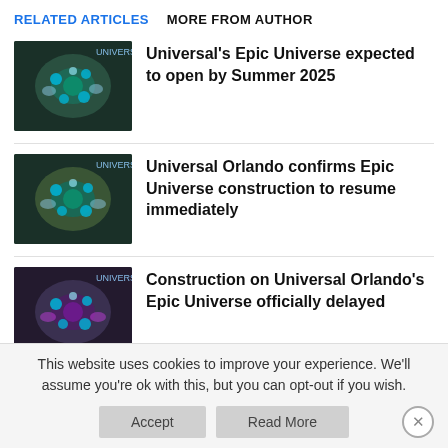RELATED ARTICLES   MORE FROM AUTHOR
Universal's Epic Universe expected to open by Summer 2025
Universal Orlando confirms Epic Universe construction to resume immediately
Construction on Universal Orlando's Epic Universe officially delayed
This website uses cookies to improve your experience. We'll assume you're ok with this, but you can opt-out if you wish.